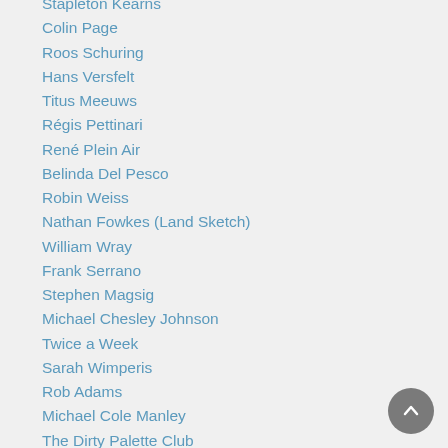Stapleton Kearns
Colin Page
Roos Schuring
Hans Versfelt
Titus Meeuws
Régis Pettinari
René Plein Air
Belinda Del Pesco
Robin Weiss
Nathan Fowkes (Land Sketch)
William Wray
Frank Serrano
Stephen Magsig
Michael Chesley Johnson
Twice a Week
Sarah Wimperis
Rob Adams
Michael Cole Manley
The Dirty Palette Club